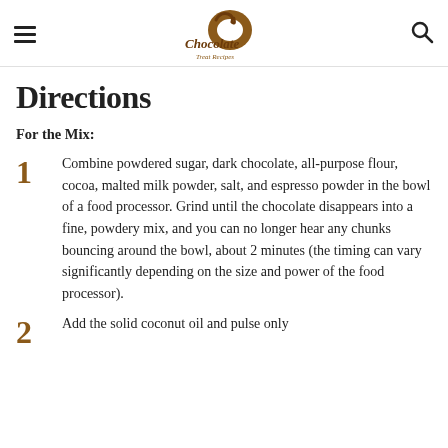Chocolate Treat Recipes
Directions
For the Mix:
Combine powdered sugar, dark chocolate, all-purpose flour, cocoa, malted milk powder, salt, and espresso powder in the bowl of a food processor. Grind until the chocolate disappears into a fine, powdery mix, and you can no longer hear any chunks bouncing around the bowl, about 2 minutes (the timing can vary significantly depending on the size and power of the food processor).
Add the solid coconut oil and pulse only